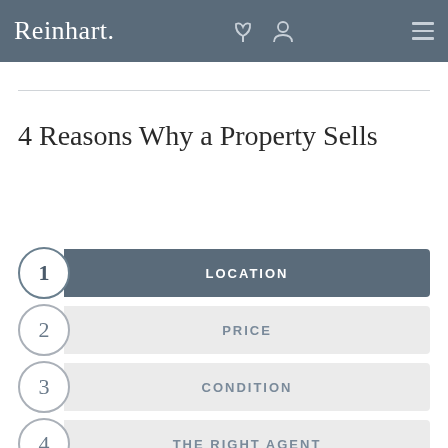Reinhart
4 Reasons Why a Property Sells
1 LOCATION
2 PRICE
3 CONDITION
4 THE RIGHT AGENT